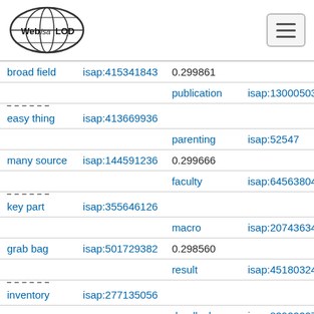Web isa LOD [logo] [hamburger menu]
| Term | ID | Score/Related Term | Related ID |
| --- | --- | --- | --- |
| broad field | isap:415341843 | 0.299861 publication | isap:130005038 |
| easy thing | isap:413669936 | parenting | isap:52547 |
| many source | isap:144591236 | 0.299666 faculty | isap:64563804 |
| key part | isap:355646126 | macro | isap:207436346 |
| grab bag | isap:501729382 | 0.298560 result | isap:451803243 |
| inventory | isap:277135056 | deadlock | isap:839222273 |
| board | isap:415499144 | 0.298216 prototyping | isap:130385726 |
| sector | isap:144997614 | course | isap:452539586 |
| purpose | isap:139472082 | 0.297496 characteristic | isap:507650072 |
| design work | isap:354777390 | league | isap:451021124 |
| creative work | isap:354777368 | 0.296376 children' | isap:674070 |